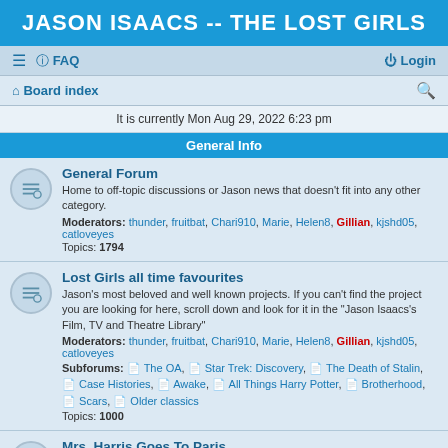JASON ISAACS -- THE LOST GIRLS
≡  FAQ    Login
⌂ Board index   🔍
It is currently Mon Aug 29, 2022 6:23 pm
General Info
General Forum
Home to off-topic discussions or Jason news that doesn't fit into any other category.
Moderators: thunder, fruitbat, Chari910, Marie, Helen8, Gillian, kjshd05, catloveyes
Topics: 1794
Lost Girls all time favourites
Jason's most beloved and well known projects. If you can't find the project you are looking for here, scroll down and look for it in the "Jason Isaacs's Film, TV and Theatre Library"
Moderators: thunder, fruitbat, Chari910, Marie, Helen8, Gillian, kjshd05, catloveyes
Subforums: The OA, Star Trek: Discovery, The Death of Stalin, Case Histories, Awake, All Things Harry Potter, Brotherhood, Scars, Older classics
Topics: 1000
Mrs. Harris Goes To Paris
The movie is about a housekeeper in the 1950's who falls in love with a Dior dress, and decides she is going to do whatever it takes to own it.
Moderators: thunder, fruitbat, Chari910, Marie, Helen8, Gillian, kjshd05,